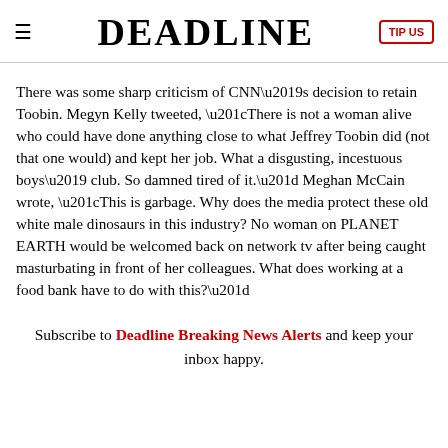DEADLINE | TIP US
There was some sharp criticism of CNN’s decision to retain Toobin. Megyn Kelly tweeted, “There is not a woman alive who could have done anything close to what Jeffrey Toobin did (not that one would) and kept her job. What a disgusting, incestuous boys’ club. So damned tired of it.” Meghan McCain wrote, “This is garbage. Why does the media protect these old white male dinosaurs in this industry? No woman on PLANET EARTH would be welcomed back on network tv after being caught masturbating in front of her colleagues. What does working at a food bank have to do with this?”
Subscribe to Deadline Breaking News Alerts and keep your inbox happy.